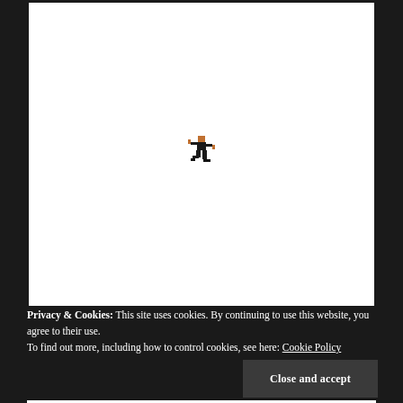[Figure (illustration): A small pixel-art style figure of a person exercising or dancing, centered on a white rectangular background panel.]
Privacy & Cookies: This site uses cookies. By continuing to use this website, you agree to their use.
To find out more, including how to control cookies, see here: Cookie Policy
Close and accept